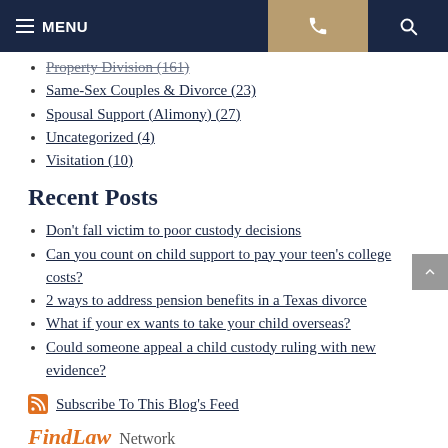MENU | [phone] | [search]
Property Division (161)
Same-Sex Couples & Divorce (23)
Spousal Support (Alimony) (27)
Uncategorized (4)
Visitation (10)
Recent Posts
Don't fall victim to poor custody decisions
Can you count on child support to pay your teen's college costs?
2 ways to address pension benefits in a Texas divorce
What if your ex wants to take your child overseas?
Could someone appeal a child custody ruling with new evidence?
Subscribe To This Blog's Feed
FindLaw Network